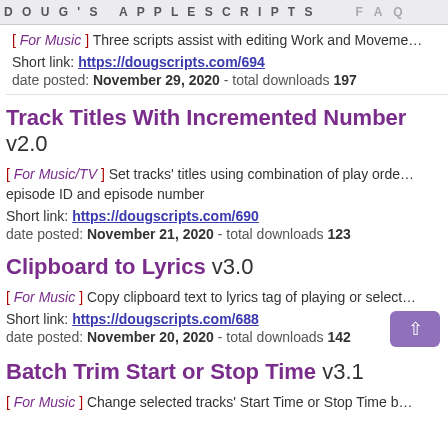DOUG'S APPLESCRIPTS   FAQ
[ For Music ] Three scripts assist with editing Work and Movement…
Short link: https://dougscripts.com/694
date posted: November 29, 2020 - total downloads 197
Track Titles With Incremented Number v2.0
[ For Music/TV ] Set tracks' titles using combination of play order, episode ID and episode number
Short link: https://dougscripts.com/690
date posted: November 21, 2020 - total downloads 123
Clipboard to Lyrics v3.0
[ For Music ] Copy clipboard text to lyrics tag of playing or selected…
Short link: https://dougscripts.com/688
date posted: November 20, 2020 - total downloads 142
Batch Trim Start or Stop Time v3.1
[ For Music ] Change selected tracks' Start Time or Stop Time b…